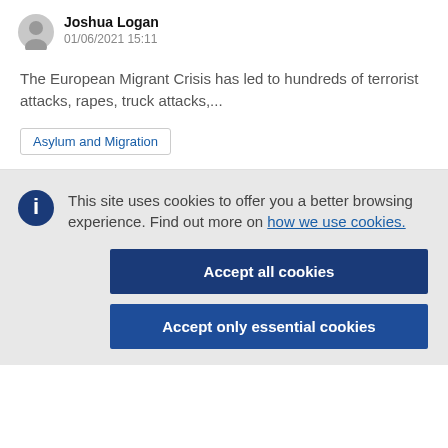Joshua Logan
01/06/2021 15:11
The European Migrant Crisis has led to hundreds of terrorist attacks, rapes, truck attacks,...
Asylum and Migration
This site uses cookies to offer you a better browsing experience. Find out more on how we use cookies.
Accept all cookies
Accept only essential cookies